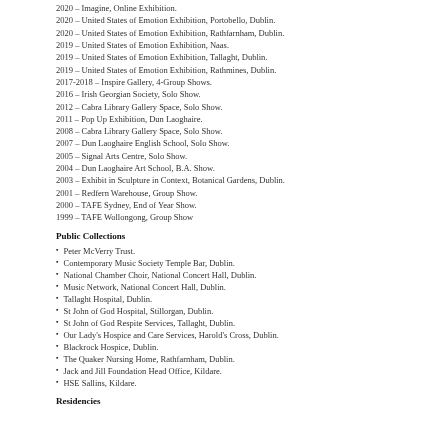2020 – Imagine, Online Exhibition.
2020 – United States of Emotion Exhibition, Portobello, Dublin.
2020 – United States of Emotion Exhibition, Rathfarnham, Dublin.
2019 – United States of Emotion Exhibition, Naas.
2019 – United States of Emotion Exhibition, Tallaght, Dublin.
2019 – United States of Emotion Exhibition, Rathmines, Dublin.
2017-2018 – Inspire Gallery, 4-Group Shows.
2016 – Irish Georgian Society, Solo Show.
2012 – Cabra Library Gallery Space, Solo Show.
2011 – Pop Up Exhibition, Dun Laoghaire.
2008 – Cabra Library Gallery Space, Solo Show.
2007 – Dun Laoghaire English School, Solo Show.
2005 – Signal Arts Centre, Solo Show.
2004 – Dun Laoghaire Art School, B.A. Show.
2003 – Exhibit in Sculpture in Context, Botanical Gardens, Dublin.
2001 – Redfern Warehouse, Group Show.
2000 – TAFE Sydney, End of Year Show.
1999 – TAFE Wollongong, Group Show
Public Collections
Peter McVerry Trust.
Contemporary Music Society Temple Bar, Dublin.
National Chamber Choir, National Concert Hall, Dublin.
Music Network, National Concert Hall, Dublin.
Tallaght Hospital, Dublin.
St John of God Hospital, Stillorgan, Dublin.
St John of God Respite Services, Tallaght, Dublin.
Our Lady's Hospice and Care Services, Harold's Cross, Dublin.
Blackrock Hospice, Dublin.
The Quaker Nursing Home, Rathfarnham, Dublin.
Jack and Jill Foundation Head Office, Kildare.
HSE Sallins, Kildare.
Residencies